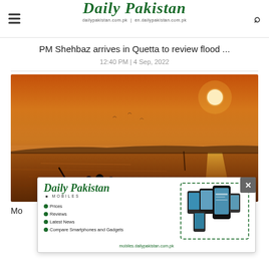Daily Pakistan — dailypakistan.com.pk | en.dailypakistan.com.pk
PM Shehbaz arrives in Quetta to review flood ...
12:40 PM | 4 Sep, 2022
[Figure (photo): Sunset over flooded waters with silhouettes of people in a boat in the foreground, orange hazy sky with sun visible]
Mo...y ...
[Figure (advertisement): Daily Pakistan Mobiles advertisement showing Prices, Reviews, Latest News, Compare Smartphones and Gadgets with phone images on the right]